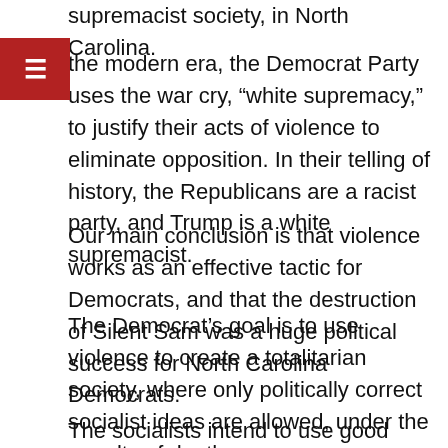supremacist society, in North Carolina.
In the modern era, the Democrat Party uses the war cry, “white supremacy,” to justify their acts of violence to eliminate opposition. In their telling of history, the Republicans are a racist party, and Trump is a white supremacist.
Our main conclusion is that violence works as an effective tactic for Democrats, and that the destruction of Silent Sam was a huge political success for North Carolina Democrats.
The Democrat’s goal is to use violence to create a totalitarian society, where only politically correct socialist ideas are allowed, under the penalty of death.
The socialists intend to use good violence because